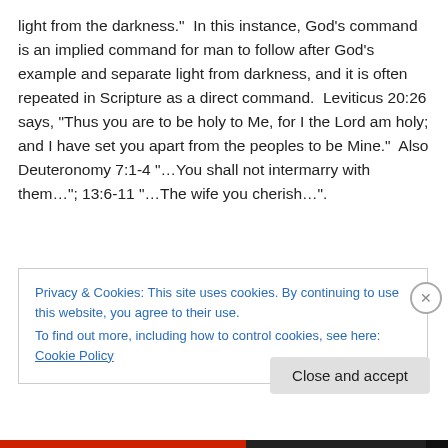light from the darkness.”  In this instance, God’s command is an implied command for man to follow after God’s example and separate light from darkness, and it is often repeated in Scripture as a direct command.  Leviticus 20:26 says, “Thus you are to be holy to Me, for I the Lord am holy; and I have set you apart from the peoples to be Mine.”  Also Deuteronomy 7:1-4 “…You shall not intermarry with them…”; 13:6-11 “…The wife you cherish…”.
Privacy & Cookies: This site uses cookies. By continuing to use this website, you agree to their use.
To find out more, including how to control cookies, see here: Cookie Policy
Close and accept